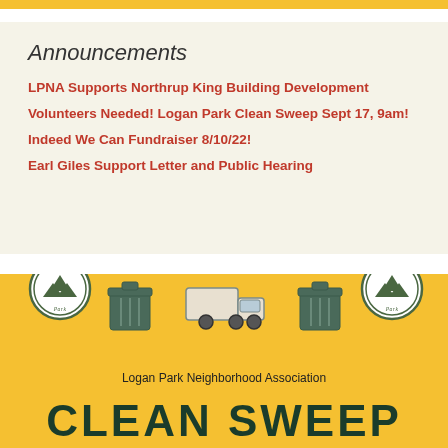Announcements
LPNA Supports Northrup King Building Development
Volunteers Needed! Logan Park Clean Sweep Sept 17, 9am!
Indeed We Can Fundraiser 8/10/22!
Earl Giles Support Letter and Public Hearing
[Figure (infographic): Logan Park Neighborhood Association Clean Sweep banner in yellow/gold with Logan Park circular badges, trash can icons, and a moving truck icon. Text reads 'Logan Park Neighborhood Association' and 'CLEAN SWEEP' in large dark green letters.]